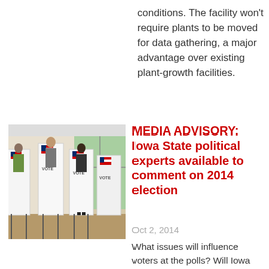conditions. The facility won't require plants to be moved for data gathering, a major advantage over existing plant-growth facilities.
[Figure (photo): People voting at polling booths with American flags, inside a bright room.]
MEDIA ADVISORY: Iowa State political experts available to comment on 2014 election
Oct 2, 2014
What issues will influence voters at the polls? Will Iowa elect its first woman to Congress? And what is the role of social media in this election? Iowa State University political experts...